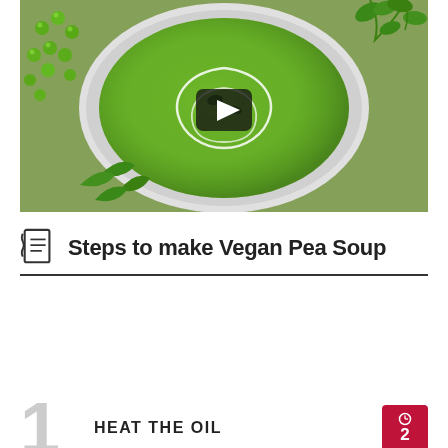[Figure (photo): Top-down photograph of a bowl of bright green vegan pea soup with cream swirl, surrounded by fresh peas and mint herbs, with a video play button overlay]
Steps to make Vegan Pea Soup
1 HEAT THE OIL